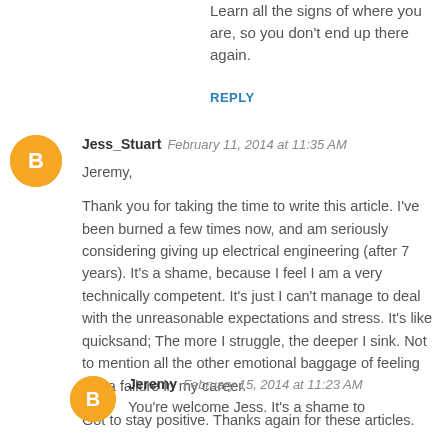Learn all the signs of where you are, so you don't end up there again.
REPLY
Jess_Stuart  February 11, 2014 at 11:35 AM
Jeremy,

Thank you for taking the time to write this article. I've been burned a few times now, and am seriously considering giving up electrical engineering (after 7 years). It's a shame, because I feel I am a very technically competent. It's just I can't manage to deal with the unreasonable expectations and stress. It's like quicksand; The more I struggle, the deeper I sink. Not to mention all the other emotional baggage of feeling like a failure in my career.

Got to stay positive. Thanks again for these articles.
Jeremy  February 15, 2014 at 11:23 AM
You're welcome Jess. It's a shame to